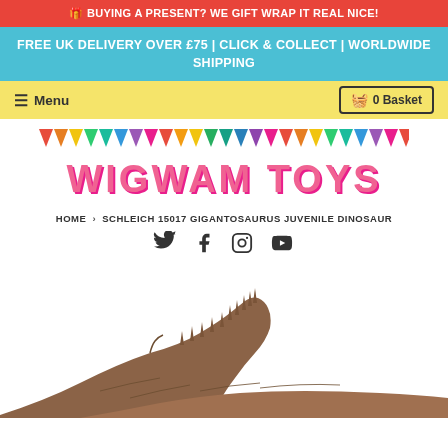🎁 BUYING A PRESENT? WE GIFT WRAP IT REAL NICE!
FREE UK DELIVERY OVER £75 | CLICK & COLLECT | WORLDWIDE SHIPPING
☰ Menu   🧺 0 Basket
[Figure (logo): Wigwam Toys logo with bunting triangles above in various colors and pink stylized text reading WIGWAM TOYS]
HOME › SCHLEICH 15017 GIGANTOSAURUS JUVENILE DINOSAUR
[Figure (illustration): Social media icons: Twitter bird, Facebook f, Instagram camera, YouTube play button]
[Figure (photo): Partial photo of a brown Schleich Gigantosaurus juvenile dinosaur toy showing long neck and spined back]